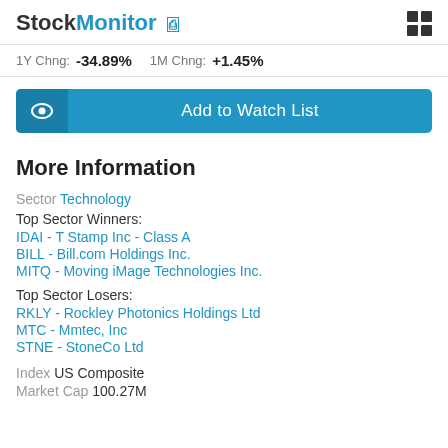StockMonitor
1Y Chng: -34.89%  1M Chng: +1.45%
Add to Watch List
More Information
Sector Technology
Top Sector Winners:
IDAI - T Stamp Inc - Class A
BILL - Bill.com Holdings Inc.
MITQ - Moving iMage Technologies Inc.
Top Sector Losers:
RKLY - Rockley Photonics Holdings Ltd
MTC - Mmtec, Inc
STNE - StoneCo Ltd
Index US Composite
Market Cap 100.27M